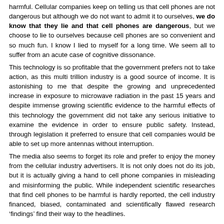harmful. Cellular companies keep on telling us that cell phones are not dangerous but although we do not want to admit it to ourselves, we do know that they lie and that cell phones are dangerous, but we choose to lie to ourselves because cell phones are so convenient and so much fun. I know I lied to myself for a long time. We seem all to suffer from an acute case of cognitive dissonance.
This technology is so profitable that the government prefers not to take action, as this multi trillion industry is a good source of income. It is astonishing to me that despite the growing and unprecedented increase in exposure to microwave radiation in the past 15 years and despite immense growing scientific evidence to the harmful effects of this technology the government did not take any serious initiative to examine the evidence in order to ensure public safety. Instead, through legislation it preferred to ensure that cell companies would be able to set up more antennas without interruption.
The media also seems to forget its role and prefer to enjoy the money from the cellular industry advertisers. It is not only does not do its job, but it is actually giving a hand to cell phone companies in misleading and misinforming the public. While independent scientific researches that find cell phones to be harmful is hardly reported, the cell industry financed, biased, contaminated and scientifically flawed research ‘findings’ find their way to the headlines.
No one holds these companies accountable and it is outrageous! While organizations that commercialize and promote wireless technologies indicate on their web sites that wireless technologies have no health effects, and “no reason for concern”